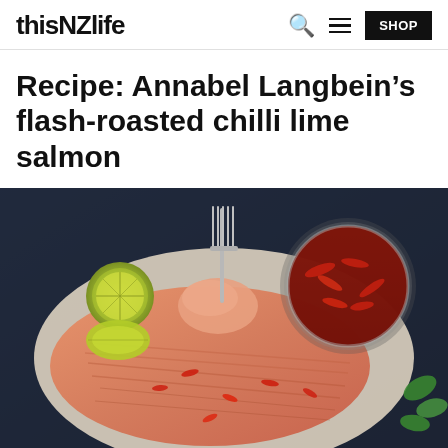thisNZlife
Recipe: Annabel Langbein's flash-roasted chilli lime salmon
[Figure (photo): Overhead photo of a whole roasted salmon fillet on a dark tray with parchment paper, topped with sliced red chillies. A bowl of chilli dipping sauce is in the top right, lime wedges and a fork are in the top left, and fresh mint leaves are visible on the right side.]